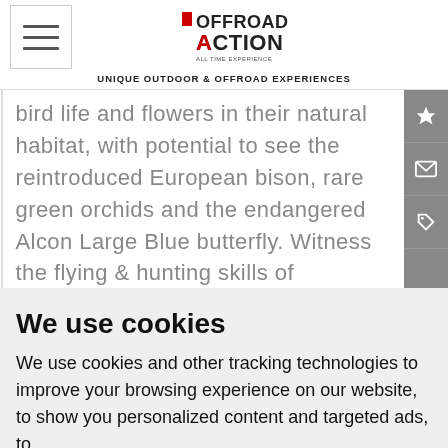OFFROAD ACTION — UNIQUE OUTDOOR & OFFROAD EXPERIENCES
bird life and flowers in their natural habitat, with potential to see the reintroduced European bison, rare green orchids and the endangered Alcon Large Blue butterfly. Witness the flying & hunting skills of magnificent birds of prey, as they soar above you, occasionally swooping and diving to hunt for food. This
We use cookies
We use cookies and other tracking technologies to improve your browsing experience on our website, to show you personalized content and targeted ads, to